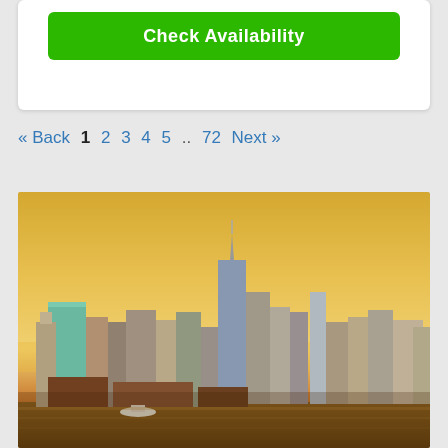[Figure (screenshot): Green 'Check Availability' button inside a white card]
« Back 1 2 3 4 5 .. 72 Next »
[Figure (photo): New York City skyline at golden sunset, viewed from across the water. Skyscrapers including One World Trade Center visible against a warm yellow-orange sky.]